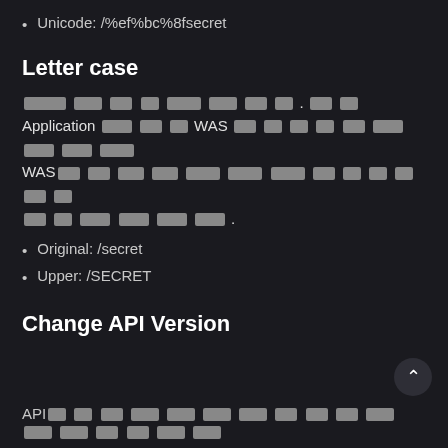Unicode: /%ef%bc%8fsecret
Letter case
[redacted Korean text] Application [redacted] WAS [redacted Korean text] WAS[redacted Korean text] [redacted Korean text].
Original: /secret
Upper: /SECRET
Change API Version
API[redacted Korean text]